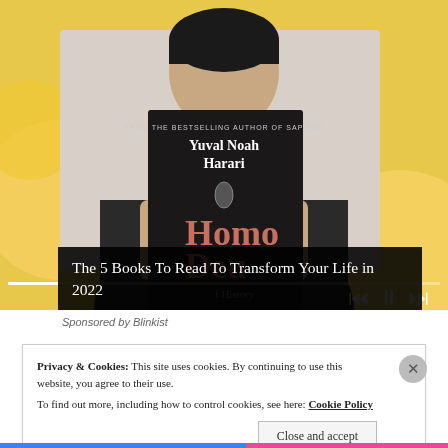[Figure (photo): Person holding up the book 'Homo Deus' by Yuval Noah Harari in front of their face. Yellow decorative background with circular shapes. Video player controls visible at bottom right.]
The 5 Books To Read To Transform Your Life in 2022
Sponsored by Blinkist
Privacy & Cookies: This site uses cookies. By continuing to use this website, you agree to their use.
To find out more, including how to control cookies, see here: Cookie Policy
Close and accept